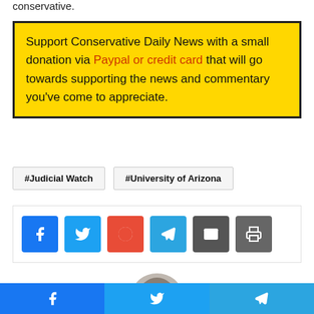conservative.
Support Conservative Daily News with a small donation via Paypal or credit card that will go towards supporting the news and commentary you've come to appreciate.
#Judicial Watch
#University of Arizona
[Figure (infographic): Social share buttons: Facebook (blue), Twitter (light blue), Reddit (orange-red), Telegram (blue), Email (dark grey), Print (grey)]
[Figure (photo): Circular avatar photo of a person, partially cropped at bottom of page]
Facebook | Twitter | Telegram share bar at bottom